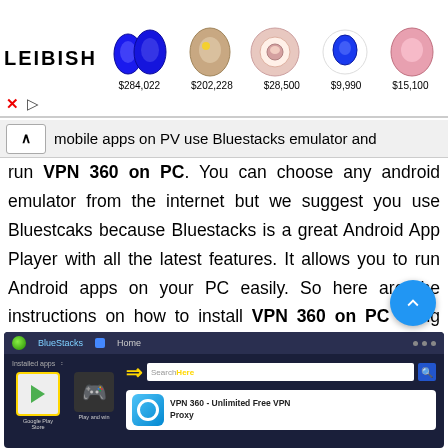[Figure (other): Leibish jewelry advertisement banner showing 5 gemstones with prices: $284,022, $202,228, $28,500, $9,990, $15,100]
mobile apps on PV use Bluestacks emulator and run VPN 360 on PC. You can choose any android emulator from the internet but we suggest you use Bluestcaks because Bluestacks is a great Android App Player with all the latest features. It allows you to run Android apps on your PC easily. So here are the instructions on how to install VPN 360 on PC using Bluestacks app player.
[Figure (screenshot): BlueStacks Android emulator screenshot showing the Home screen with Installed apps section (Google Play Store icon with yellow border, Play and win game icon), a yellow arrow pointing to Search Here search box, and a card showing VPN 360 - Unlimited Free VPN Proxy app]